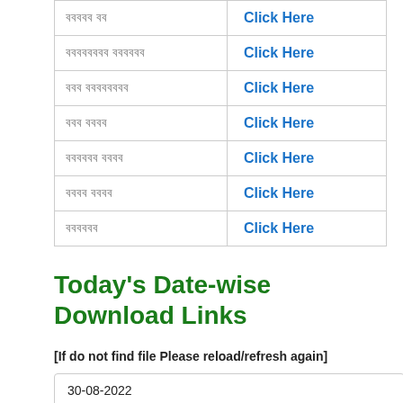| Category (script) | Link |
| --- | --- |
| ববববব বব | Click Here |
| বববববববব বববববব | Click Here |
| ববব বববববববব | Click Here |
| ববব বববব | Click Here |
| বববববব বববব | Click Here |
| বববব বববব | Click Here |
| বববববব | Click Here |
Today's Date-wise Download Links
[If do not find file Please reload/refresh again]
30-08-2022
Download Now